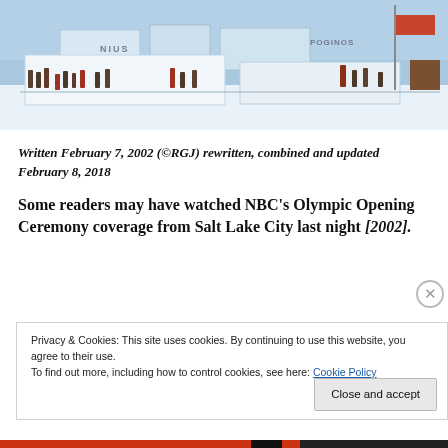[Figure (photo): Outdoor winter Olympic scene with snow structures, people in heavy coats, banners, and fencing in the foreground at what appears to be Salt Lake City 2002 Olympics venue]
Written February 7, 2002 (©RGJ) rewritten, combined and updated February 8, 2018
Some readers may have watched NBC's Olympic Opening Ceremony coverage from Salt Lake City last night [2002].
Privacy & Cookies: This site uses cookies. By continuing to use this website, you agree to their use.
To find out more, including how to control cookies, see here: Cookie Policy